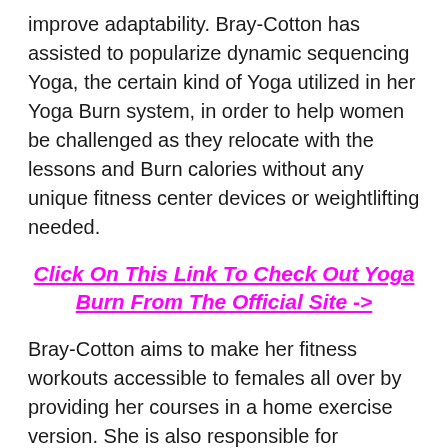improve adaptability. Bray-Cotton has assisted to popularize dynamic sequencing Yoga, the certain kind of Yoga utilized in her Yoga Burn system, in order to help women be challenged as they relocate with the lessons and Burn calories without any unique fitness center devices or weightlifting needed.
Click On This Link To Check Out Yoga Burn From The Official Site ->
Bray-Cotton aims to make her fitness workouts accessible to females all over by providing her courses in a home exercise version. She is also responsible for producing the Yoga Burn Instagram area where females can locate physical